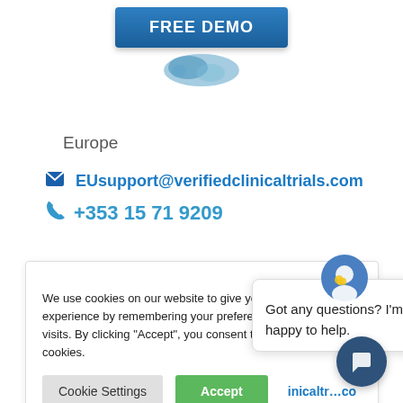[Figure (illustration): FREE DEMO blue button with a blue map/globe icon below it]
Europe
✉ EUsupport@verifiedclinicaltrials.com
📞 +353 15 71 9209
We use cookies on our website to give you the most relevant experience by remembering your preferences and repeat visits. By clicking "Accept", you consent to the use of ALL the cookies.
Cookie Settings   Accept   inicaltrials.co
Got any questions? I'm happy to help.